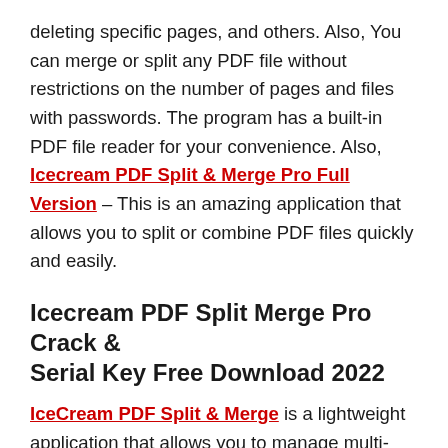deleting specific pages, and others. Also, You can merge or split any PDF file without restrictions on the number of pages and files with passwords. The program has a built-in PDF file reader for your convenience. Also, Icecream PDF Split & Merge Pro Full Version – This is an amazing application that allows you to split or combine PDF files quickly and easily.
Icecream PDF Split Merge Pro Crack & Serial Key Free Download 2022
IceCream PDF Split & Merge is a lightweight application that allows you to manage multi-page PDF files by separating them into multiple smaller documents. Alternatively, you can join many PDF files and create a